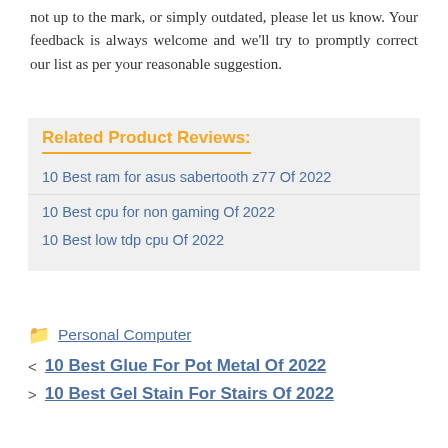not up to the mark, or simply outdated, please let us know. Your feedback is always welcome and we'll try to promptly correct our list as per your reasonable suggestion.
Related Product Reviews:
10 Best ram for asus sabertooth z77 Of 2022
10 Best cpu for non gaming Of 2022
10 Best low tdp cpu Of 2022
Personal Computer
10 Best Glue For Pot Metal Of 2022
10 Best Gel Stain For Stairs Of 2022